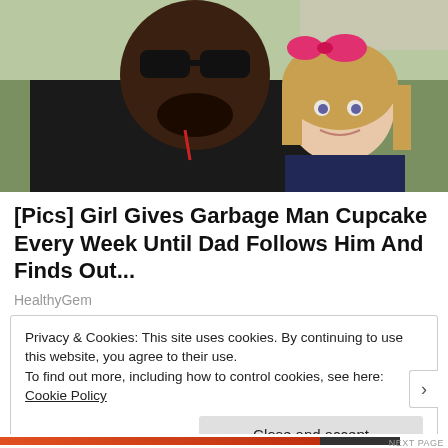[Figure (photo): A smiling man wearing sunglasses and a black jacket poses with a young girl with blonde hair who has a pink bow. They appear outdoors with green grass in the background.]
[Pics] Girl Gives Garbage Man Cupcake Every Week Until Dad Follows Him And Finds Out...
HealthyGem
Privacy & Cookies: This site uses cookies. By continuing to use this website, you agree to their use.
To find out more, including how to control cookies, see here: Cookie Policy
Close and accept